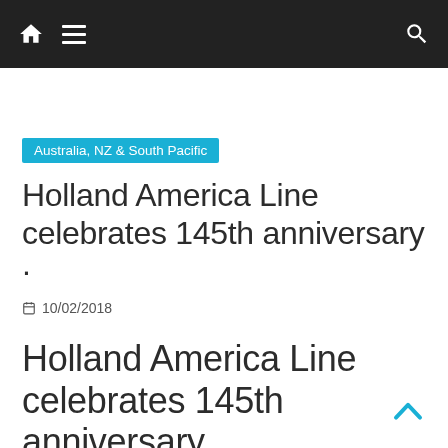Navigation bar with home, menu, and search icons
Australia, NZ & South Pacific
Holland America Line celebrates 145th anniversary ·
10/02/2018
Holland America Line celebrates 145th anniversary